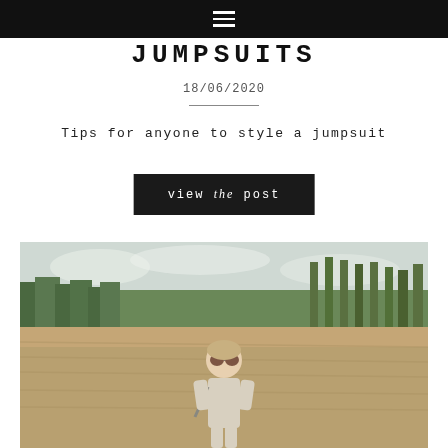≡
JUMPSUITS
18/06/2020
Tips for anyone to style a jumpsuit
view the post
[Figure (photo): Woman standing in a field wearing a jumpsuit, with trees in background and overcast sky]